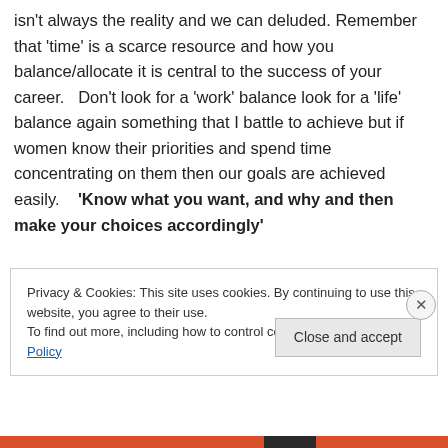isn't always the reality and we can deluded. Remember that 'time' is a scarce resource and how you balance/allocate it is central to the success of your career.   Don't look for a 'work' balance look for a 'life' balance again something that I battle to achieve but if women know their priorities and spend time concentrating on them then our goals are achieved easily.   'Know what you want, and why and then make your choices accordingly'
Privacy & Cookies: This site uses cookies. By continuing to use this website, you agree to their use.
To find out more, including how to control cookies, see here: Cookie Policy